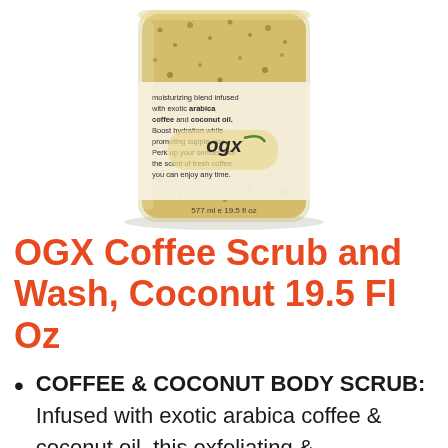[Figure (photo): OGX Coffee Scrub and Wash product jar, showing a sandy/golden-colored scrub inside a clear jar with the OGX logo label and text reading 'moisturizing blend infused with exotic arabica coffee and coconut oil. Boost hydration while promoting supple skin. Perk up your senses with the scent of fresh coffee you can enjoy any time.' and '577 ml e 19.5 fl oz' at the bottom.]
OGX Coffee Scrub and Wash, Coconut 19.5 Fl Oz
COFFEE & COCONUT BODY SCRUB: Infused with exotic arabica coffee & coconut oil, this exfoliating & moisturizing blend will help soften & hydrate your skin. Boost hydration